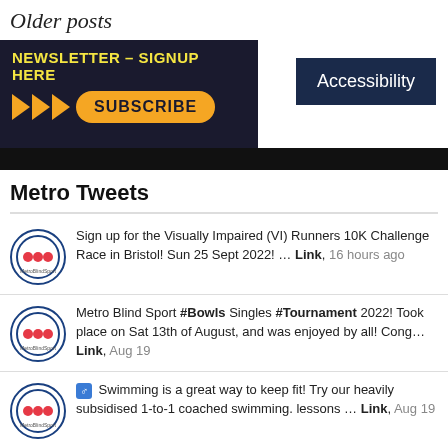Older posts
[Figure (infographic): Newsletter signup banner with dark background, yellow text 'NEWSLETTER – SIGNUP HERE', orange arrows, and orange Subscribe button]
[Figure (infographic): Accessibility button with dark navy border and background]
Metro Tweets
Sign up for the Visually Impaired (VI) Runners 10K Challenge Race in Bristol! Sun 25 Sept 2022! … Link, 16 hours ago
Metro Blind Sport #Bowls Singles #Tournament 2022! Took place on Sat 13th of August, and was enjoyed by all! Cong… Link, Aug 19
♂ Swimming is a great way to keep fit! Try our heavily subsidised 1-to-1 coached swimming. lessons … Link, Aug 19